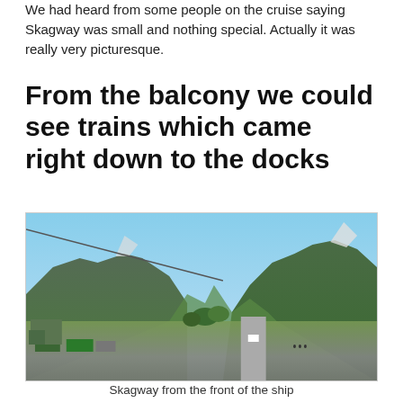We had heard from some people on the cruise saying Skagway was small and nothing special. Actually it was really very picturesque.
From the balcony we could see trains which came right down to the docks
[Figure (photo): Aerial/elevated view of Skagway, Alaska from the front of a cruise ship, showing a small town nestled in a mountain valley with green forested slopes, snow-capped peaks in the background, roads, shipping containers, and buildings in the foreground.]
Skagway from the front of the ship